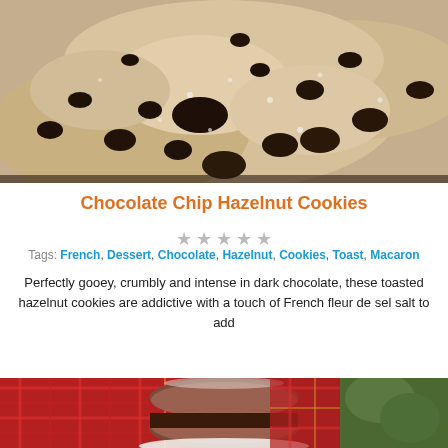[Figure (photo): Close-up photo of chocolate chip hazelnut cookies piled together, showing dark chocolate chips embedded in pale, crumbly cookie dough with a rustic texture]
Chocolate Chip Hazelnut Cookies
★ ★ ★ ★ ★ (empty star rating, 5 stars greyed out)
Tags: French, Dessert, Chocolate, Hazelnut, Cookies, Toast, Macaron
Perfectly gooey, crumbly and intense in dark chocolate, these toasted hazelnut cookies are addictive with a touch of French fleur de sel salt to add
[Figure (photo): Photo of a chocolate macaron sandwich cookie on a white plate, with plaid/tartan fabric and greenery in the background]